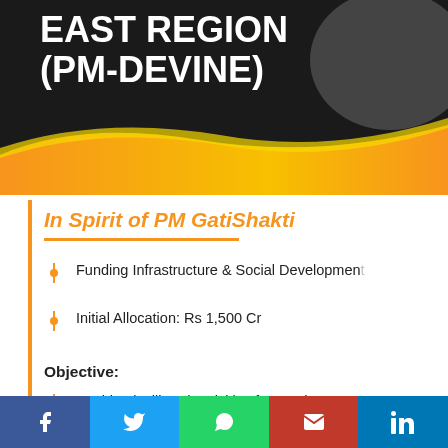EAST REGION
(PM-DevINE)
In Spirit of PM GatiShakti
Funding Infrastructure & Social Development
Initial Allocation: Rs 1,500 Cr
Objective:
Enable Livelihood Activities for Youth & Women
Social media icons: Facebook, Twitter, WhatsApp, Email, LinkedIn